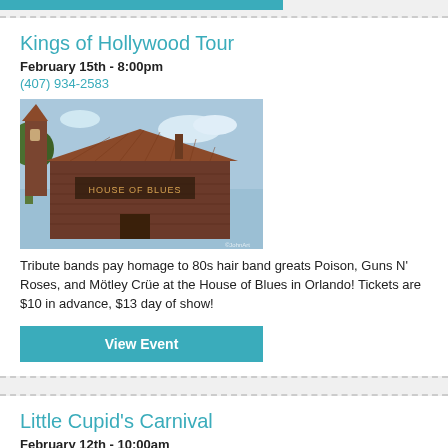Kings of Hollywood Tour
February 15th - 8:00pm
(407) 934-2583
[Figure (photo): Photo of House of Blues building in Orlando with rustic wooden exterior and signage]
Tribute bands pay homage to 80s hair band greats Poison, Guns N' Roses, and Mötley Crüe at the House of Blues in Orlando! Tickets are $10 in advance, $13 day of show!
View Event
Little Cupid's Carnival
February 12th - 10:00am
(407) 656-4111
[Figure (photo): Photo of carnival with colorful rooftop structure visible]